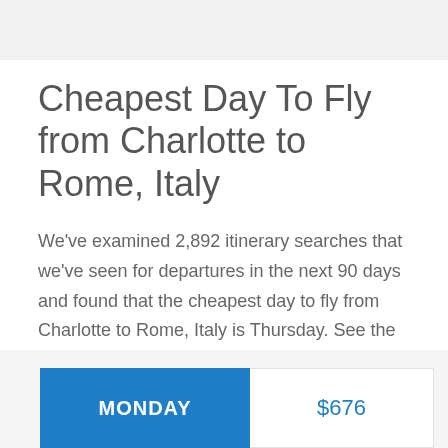Cheapest Day To Fly from Charlotte to Rome, Italy
We've examined 2,892 itinerary searches that we've seen for departures in the next 90 days and found that the cheapest day to fly from Charlotte to Rome, Italy is Thursday. See the chart below to compare prices for other days of the week.
| Day | Price |
| --- | --- |
| MONDAY | $676 |